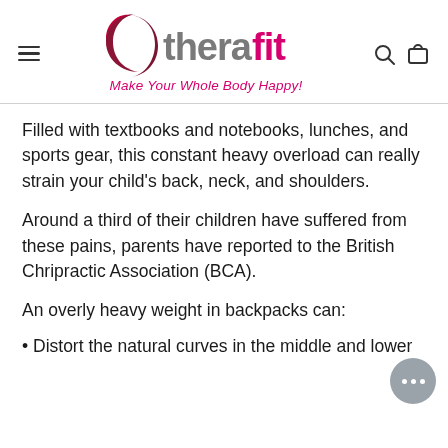[Figure (logo): Therafit logo with crescent moon icon in dark red/maroon and 'thera' in gray 'fit' in pink, tagline 'Make Your Whole Body Happy!' in pink italic below]
Filled with textbooks and notebooks, lunches, and sports gear, this constant heavy overload can really strain your child's back, neck, and shoulders.
Around a third of their children have suffered from these pains, parents have reported to the British Chripractic Association (BCA).
An overly heavy weight in backpacks can:
• Distort the natural curves in the middle and lower